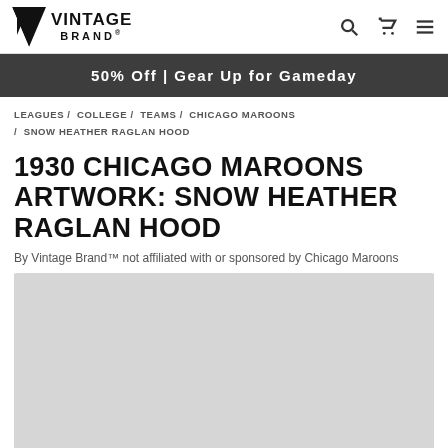VINTAGE BRAND
50% Off | Gear Up for Gameday
LEAGUES / COLLEGE / TEAMS / CHICAGO MAROONS / SNOW HEATHER RAGLAN HOOD
1930 CHICAGO MAROONS ARTWORK: SNOW HEATHER RAGLAN HOOD
By Vintage Brand™ not affiliated with or sponsored by Chicago Maroons
[Figure (photo): Product image placeholder – light grey rectangle representing a product photo area]